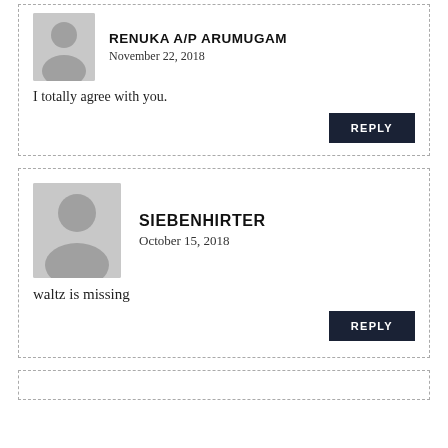RENUKA A/P ARUMUGAM
November 22, 2018
I totally agree with you.
REPLY
SIEBENHIRTER
October 15, 2018
waltz is missing
REPLY